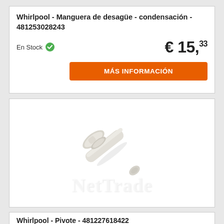Whirlpool - Manguera de desagüe - condensación - 481253028243
En Stock
€ 15,33
MÁS INFORMACIÓN
[Figure (photo): A white plastic plug/pivot component for a Whirlpool appliance, shown diagonally on a white background with NetTrade watermark.]
Whirlpool - Pivote - 481227618422